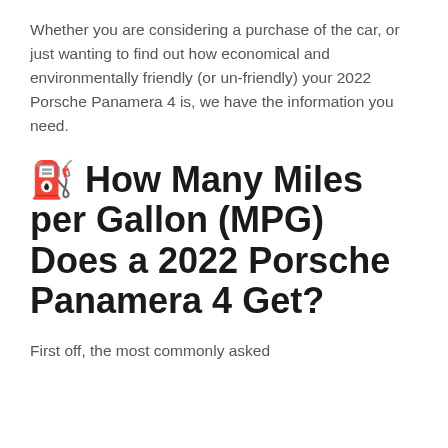Whether you are considering a purchase of the car, or just wanting to find out how economical and environmentally friendly (or un-friendly) your 2022 Porsche Panamera 4 is, we have the information you need.
⛽ How Many Miles per Gallon (MPG) Does a 2022 Porsche Panamera 4 Get?
First off, the most commonly asked